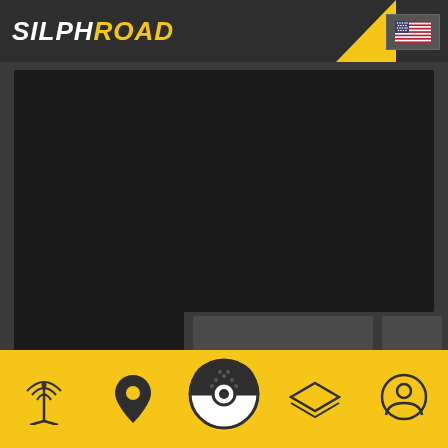SILPHROAD - navigation header with logo and US flag
[Figure (screenshot): Main dark content area - video/map display region]
[Figure (screenshot): Tab bar with one active dark tab and two inactive tabs]
[Figure (screenshot): Slider pagination area with dashed line and four dots]
[Figure (screenshot): Bottom navigation bar with antenna, location pin, pokeball, grid/layers, and profile icons on yellow background]